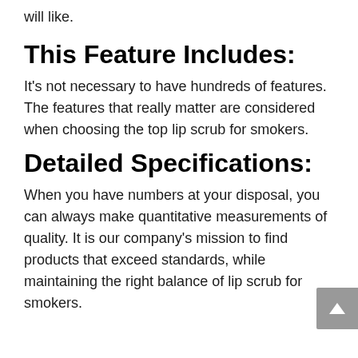will like.
This Feature Includes:
It's not necessary to have hundreds of features. The features that really matter are considered when choosing the top lip scrub for smokers.
Detailed Specifications:
When you have numbers at your disposal, you can always make quantitative measurements of quality. It is our company's mission to find products that exceed standards, while maintaining the right balance of lip scrub for smokers.